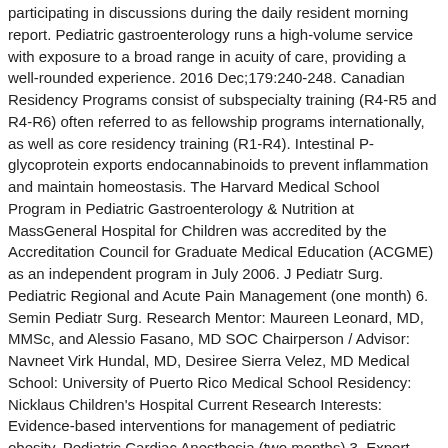participating in discussions during the daily resident morning report. Pediatric gastroenterology runs a high-volume service with exposure to a broad range in acuity of care, providing a well-rounded experience. 2016 Dec;179:240-248. Canadian Residency Programs consist of subspecialty training (R4-R5 and R4-R6) often referred to as fellowship programs internationally, as well as core residency training (R1-R4). Intestinal P-glycoprotein exports endocannabinoids to prevent inflammation and maintain homeostasis. The Harvard Medical School Program in Pediatric Gastroenterology & Nutrition at MassGeneral Hospital for Children was accredited by the Accreditation Council for Graduate Medical Education (ACGME) as an independent program in July 2006. J Pediatr Surg. Pediatric Regional and Acute Pain Management (one month) 6. Semin Pediatr Surg. Research Mentor: Maureen Leonard, MD, MMSc, and Alessio Fasano, MD SOC Chairperson / Advisor: Navneet Virk Hundal, MD, Desiree Sierra Velez, MD Medical School: University of Puerto Rico Medical School Residency: Nicklaus Children's Hospital Current Research Interests: Evidence-based interventions for management of pediatric obesity. Pediatric Cardiac Anesthesia (two months) 3. Expert Rev Gastroenterol Hepatol. Our fellowship program accepts applicants with U.S. citizenship or ECFMG certified J1 visas without bias towards visa status. Dig Dis. Di Lorenzo C, Kaj B, Krishnan K, Moran CJ, Goldstein AM, Gee MS, Masia R. Case 29-2019: A 14-Month-Old Boy with Vomiting. The search fields below allow you to find a GI Fellowship Program by Institution, City, State, Country or